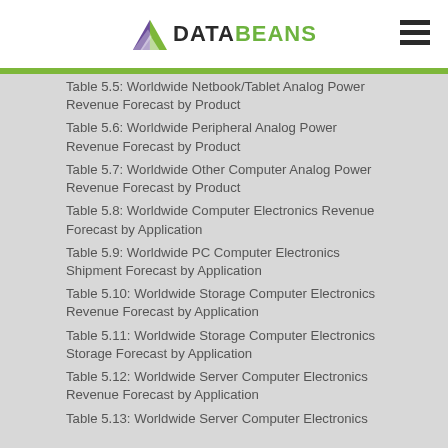DATABEANS
Table 5.5: Worldwide Netbook/Tablet Analog Power Revenue Forecast by Product
Table 5.6: Worldwide Peripheral Analog Power Revenue Forecast by Product
Table 5.7: Worldwide Other Computer Analog Power Revenue Forecast by Product
Table 5.8: Worldwide Computer Electronics Revenue Forecast by Application
Table 5.9: Worldwide PC Computer Electronics Shipment Forecast by Application
Table 5.10: Worldwide Storage Computer Electronics Revenue Forecast by Application
Table 5.11: Worldwide Storage Computer Electronics Storage Forecast by Application
Table 5.12: Worldwide Server Computer Electronics Revenue Forecast by Application
Table 5.13: Worldwide Server Computer Electronics